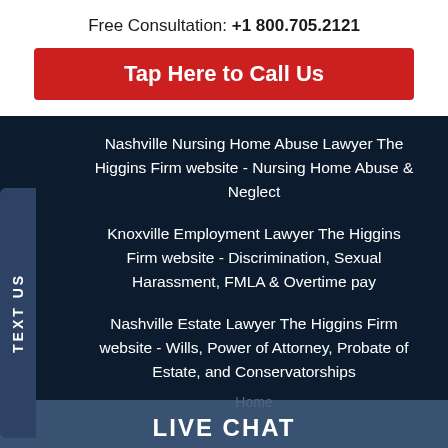Free Consultation: +1 800.705.2121
Tap Here to Call Us
Nashville Nursing Home Abuse Lawyer The Higgins Firm website - Nursing Home Abuse & Neglect
Knoxville Employment Lawyer The Higgins Firm website - Discrimination, Sexual Harassment, FMLA & Overtime pay
Nashville Estate Lawyer The Higgins Firm website - Wills, Power of Attorney, Probate of Estate, and Conservatorships
Home
LIVE CHAT